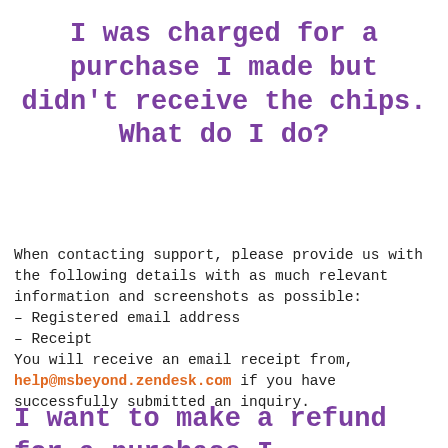I was charged for a purchase I made but didn't receive the chips. What do I do?
When contacting support, please provide us with the following details with as much relevant information and screenshots as possible:
- Registered email address
- Receipt
You will receive an email receipt from, help@msbeyond.zendesk.com if you have successfully submitted an inquiry.
I want to make a refund for a purchase I